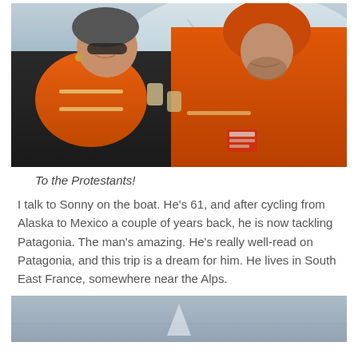[Figure (photo): Two men wearing orange life vests clinking glasses on a boat, with a glacier and grey-blue water in the background. The man on the left wears a dark jacket with an orange vest, sunglasses, and a grey hat. The man on the right wears a full orange jacket with hood up.]
To the Protestants!
I talk to Sonny on the boat. He's 61, and after cycling from Alaska to Mexico a couple of years back, he is now tackling Patagonia. The man's amazing. He's really well-read on Patagonia, and this trip is a dream for him. He lives in South East France, somewhere near the Alps.
[Figure (photo): A misty, grey-toned photograph showing water and what appears to be a distant white triangular shape, likely a boat or ice formation, against a hazy grey sky and water background.]